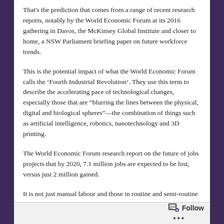That's the prediction that comes from a range of recent research reports, notably by the World Economic Forum at its 2016 gathering in Davos, the McKinsey Global Institute and closer to home, a NSW Parliament briefing paper on future workforce trends.
This is the potential impact of what the World Economic Forum calls the ‘Fourth Industrial Revolution’. They use this term to describe the accelerating pace of technological changes, especially those that are “blurring the lines between the physical, digital and biological spheres”—the combination of things such as artificial intelligence, robotics, nanotechnology and 3D printing.
The World Economic Forum research report on the future of jobs projects that by 2020, 7.1 million jobs are expected to be lost, versus just 2 million gained.
It is not just manual labour and those in routine and semi-routine occupations where machines are likely to
Follow ...